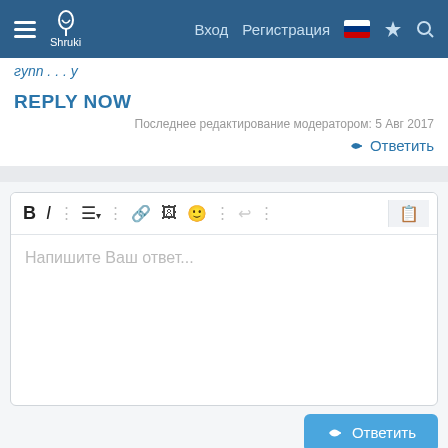Shruki — Вход  Регистрация
Последнее редактирование модератором: 5 Авг 2017
REPLY NOW
Ответить
[Figure (screenshot): Text editor with toolbar (Bold, Italic, formatting buttons, link, image, emoji, undo icons) and placeholder text 'Напишите Ваш ответ...']
Ответить
Рекомендуемые темы